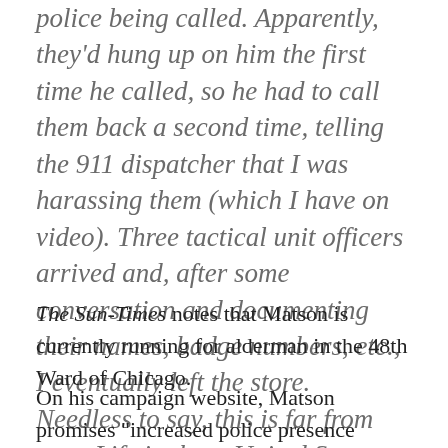police being called. Apparently, they'd hung up on him the first time he called, so he had to call them back a second time, telling the 911 dispatcher that I was harassing them (which I have on video). Three tactical unit officers arrived and, after some conversation and documenting their names, badge numbers, etc., I eventually left the store. Needless to say, this is far from over. Life in these United States. Aargh.
The Sun-Times notes that Matson is currently running for alderman in the 48th Ward of Chicago.
On his campaign website, Matson promises "increased police presence throughout Alderman Matson's 48th